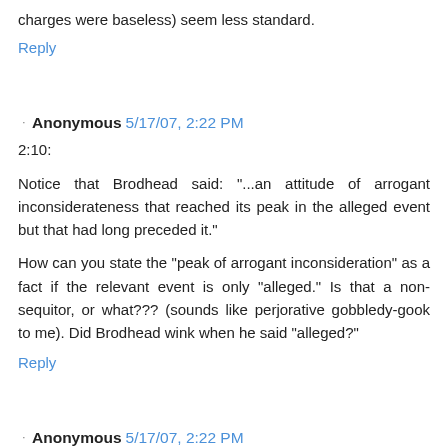charges were baseless) seem less standard.
Reply
Anonymous 5/17/07, 2:22 PM
2:10:
Notice that Brodhead said: "...an attitude of arrogant inconsiderateness that reached its peak in the alleged event but that had long preceded it."
How can you state the "peak of arrogant inconsideration" as a fact if the relevant event is only "alleged." Is that a non-sequitor, or what??? (sounds like perjorative gobbledy-gook to me). Did Brodhead wink when he said "alleged?"
Reply
Anonymous 5/17/07, 2:22 PM
US Representative Ron Paul's Texas Straight Talk